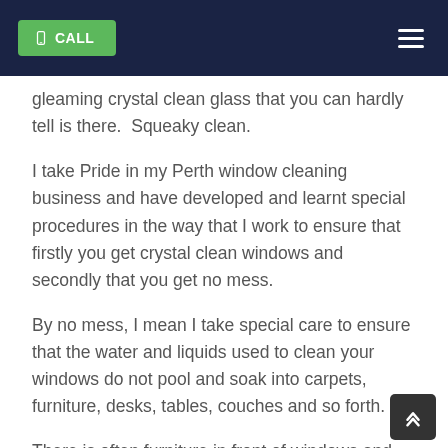CALL
gleaming crystal clean glass that you can hardly tell is there.  Squeaky clean.
I take Pride in my Perth window cleaning business and have developed and learnt special procedures in the way that I work to ensure that firstly you get crystal clean windows and secondly that you get no mess.
By no mess, I mean I take special care to ensure that the water and liquids used to clean your windows do not pool and soak into carpets, furniture, desks, tables, couches and so forth.
There is often furniture in front of windows and carpets that can soak up moisture degrading them at the bottom of windows.